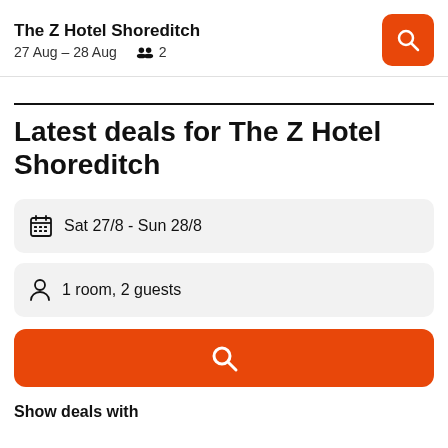The Z Hotel Shoreditch
27 Aug – 28 Aug  2
Latest deals for The Z Hotel Shoreditch
Sat 27/8  -  Sun 28/8
1 room, 2 guests
Show deals with